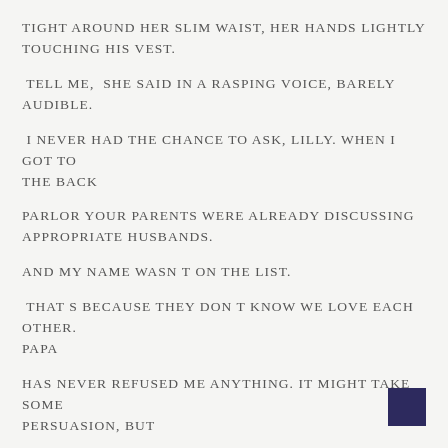tight around her slim waist, her hands lightly touching his vest.
Tell me,  she said in a rasping voice, barely audible.
I never had the chance to ask, Lilly. When I got to the back
parlor your parents were already discussing appropriate husbands.
And my name wasn t on the list.
That s because they don t know we love each other. Papa
has never refused me anything. It might take some persuasion, but